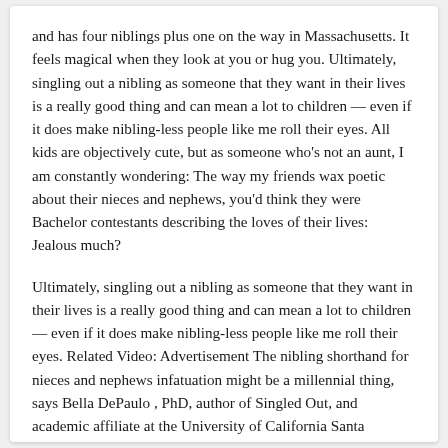and has four niblings plus one on the way in Massachusetts. It feels magical when they look at you or hug you. Ultimately, singling out a nibling as someone that they want in their lives is a really good thing and can mean a lot to children — even if it does make nibling-less people like me roll their eyes. All kids are objectively cute, but as someone who's not an aunt, I am constantly wondering: The way my friends wax poetic about their nieces and nephews, you'd think they were Bachelor contestants describing the loves of their lives: Jealous much?
Ultimately, singling out a nibling as someone that they want in their lives is a really good thing and can mean a lot to children — even if it does make nibling-less people like me roll their eyes. Related Video: Advertisement The nibling shorthand for nieces and nephews infatuation might be a millennial thing, says Bella DePaulo , PhD, author of Singled Out, and academic affiliate at the University of California Santa Barbara.